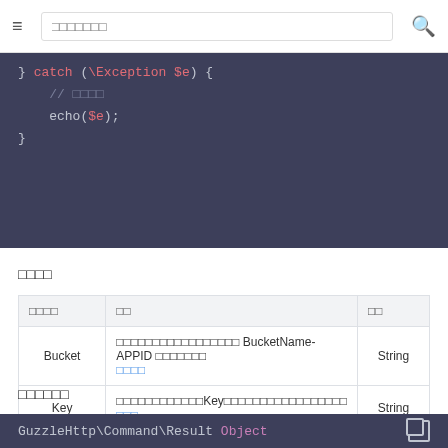☰  [search box]  🔍
[Figure (screenshot): PHP code block showing: } catch (\Exception $e) {  // comment  echo($e); }]
请求参数
| 参数名称 | 描述 | 类型 |
| --- | --- | --- |
| Bucket | 存储桶的名字，命名规则为 BucketName-APPID，此处填写的存储桶名称必须为此格式 了解更多 | String |
| Key | 对象键（Key）是对象在存储桶中的唯一标识。了解更多 了解 | String |
返回结果说明
[Figure (screenshot): Code block showing: GuzzleHttp\Command\Result Object with copy icon]